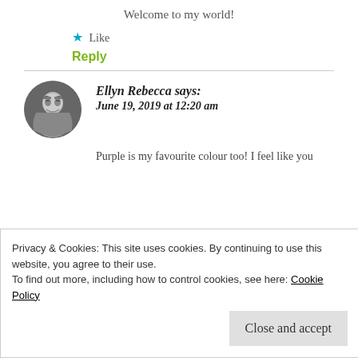Welcome to my world!
★ Like
Reply
Ellyn Rebecca says: June 19, 2019 at 12:20 am
Purple is my favourite colour too! I feel like you
Privacy & Cookies: This site uses cookies. By continuing to use this website, you agree to their use.
To find out more, including how to control cookies, see here: Cookie Policy
Close and accept